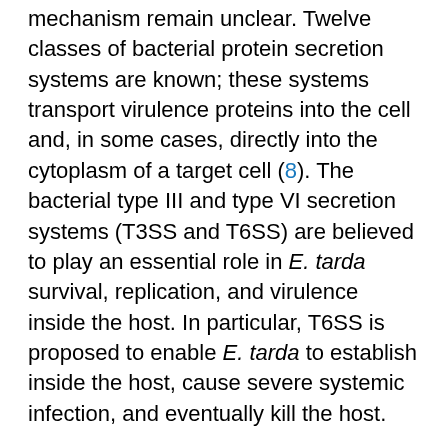mechanism remain unclear. Twelve classes of bacterial protein secretion systems are known; these systems transport virulence proteins into the cell and, in some cases, directly into the cytoplasm of a target cell (8). The bacterial type III and type VI secretion systems (T3SS and T6SS) are believed to play an essential role in E. tarda survival, replication, and virulence inside the host. In particular, T6SS is proposed to enable E. tarda to establish inside the host, cause severe systemic infection, and eventually kill the host.
We reviewed 26 cases of E. tarda bacteremia. Clinical diagnoses included 15 (58%) biliary tract infections (cholangitis, cholecystitis, and liver abscess). Eight of these patients had hepatobiliary diseases including cholangiocarcinoma, gallbladder cancer, pancreatic cancer, gallstone disease. Therefore, hepatobiliary diseases may be a predisposing factor of E. tarda